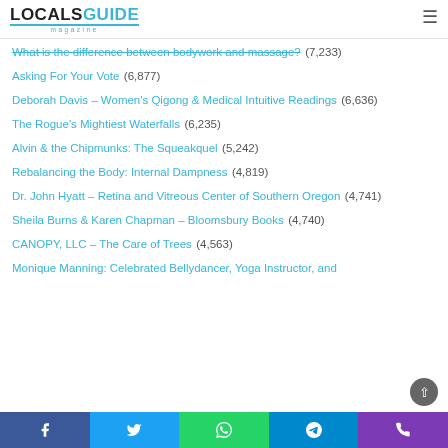LOCALS GUIDE magazine
What is the difference between bodywork and massage? (7,233)
Asking For Your Vote (6,877)
Deborah Davis – Women's Qigong & Medical Intuitive Readings (6,636)
The Rogue's Mightiest Waterfalls (6,235)
Alvin & the Chipmunks: The Squeakquel (5,242)
Rebalancing the Body: Internal Dampness (4,819)
Dr. John Hyatt – Retina and Vitreous Center of Southern Oregon (4,741)
Sheila Burns & Karen Chapman – Bloomsbury Books (4,740)
CANOPY, LLC – The Care of Trees (4,563)
Monique Manning: Celebrated Bellydancer, Yoga Instructor, and
Facebook | Twitter | WhatsApp | Telegram | Phone